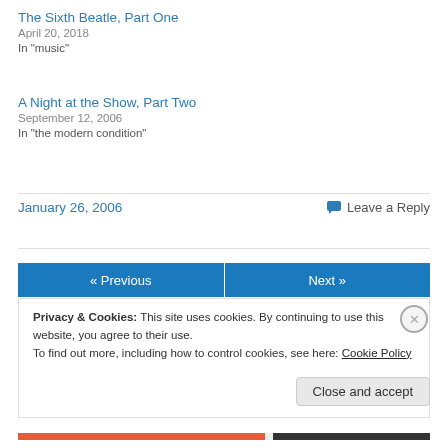The Sixth Beatle, Part One
April 20, 2018
In "music"
A Night at the Show, Part Two
September 12, 2006
In "the modern condition"
January 26, 2006
Leave a Reply
« Previous
Next »
Privacy & Cookies: This site uses cookies. By continuing to use this website, you agree to their use.
To find out more, including how to control cookies, see here: Cookie Policy
Close and accept